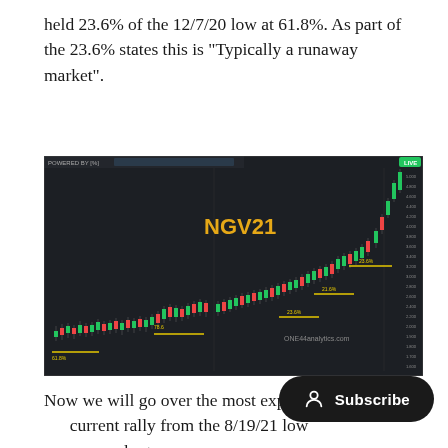held 23.6% of the 12/7/20 low at 61.8%. As part of the 23.6% states this is "Typically a runaway market".
[Figure (continuous-plot): Candlestick chart for NGV21 (Natural Gas futures) showing a strong upward price rally. Chart has a dark background with red and green candlesticks. Multiple Fibonacci retracement levels are labeled in yellow: 61.8% at the bottom left, 78.6% in lower middle area, 23.6% at three ascending levels on the right side, and 21.6% in the middle right. The ticker symbol NGV21 appears in large yellow text in the center. ONE44analytics.com watermark visible in lower right. Price scale visible on right side. Strong parabolic move visible at far right.]
Now we will go over the most exp current rally from the 8/19/21 low chart.